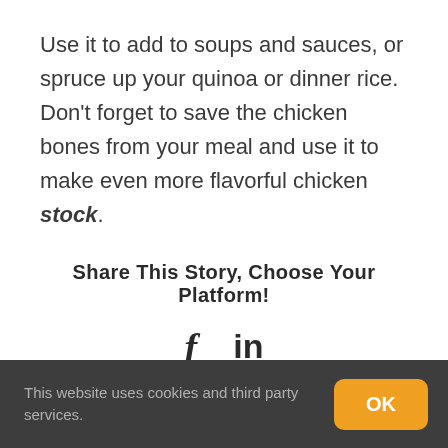Use it to add to soups and sauces, or spruce up your quinoa or dinner rice. Don't forget to save the chicken bones from your meal and use it to make even more flavorful chicken stock.
Share This Story, Choose Your Platform!
[Figure (infographic): Social media icons: Facebook (f) and LinkedIn (in)]
2 Comments
This website uses cookies and third party services.